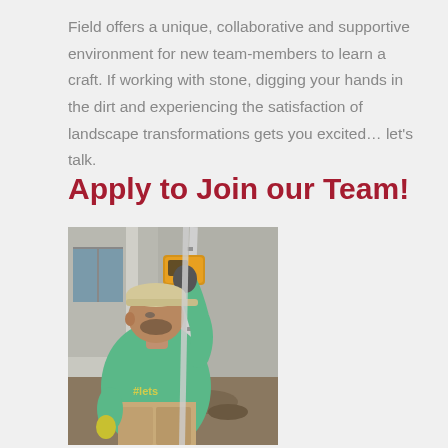Field offers a unique, collaborative and supportive environment for new team-members to learn a craft. If working with stone, digging your hands in the dirt and experiencing the satisfaction of landscape transformations gets you excited… let's talk.
Apply to Join our Team!
[Figure (photo): A man wearing a green t-shirt with '#lets' text, khaki pants, yellow gloves, and a beige cap, holding a measuring rod/level tool up to his face while working outdoors near a building.]